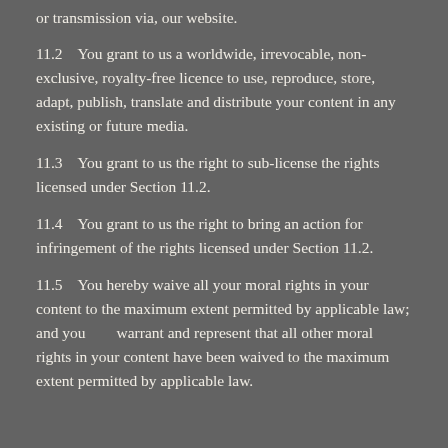or transmission via, our website.
11.2    You grant to us a worldwide, irrevocable, non-exclusive, royalty-free licence to use, reproduce, store, adapt, publish, translate and distribute your content in any existing or future media.
11.3    You grant to us the right to sub-license the rights licensed under Section 11.2.
11.4    You grant to us the right to bring an action for infringement of the rights licensed under Section 11.2.
11.5    You hereby waive all your moral rights in your content to the maximum extent permitted by applicable law; and you        warrant and represent that all other moral rights in your content have been waived to the maximum extent permitted by applicable law.